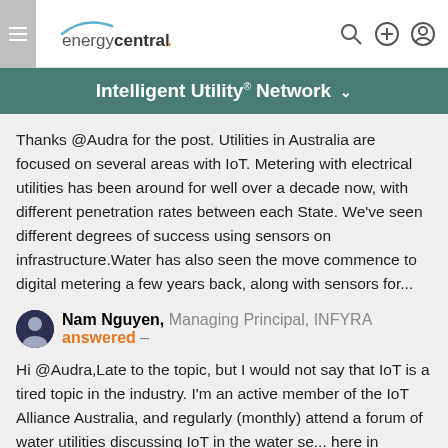energycentral.
Intelligent Utility® Network ∨
Thanks @Audra for the post. Utilities in Australia are focused on several areas with IoT. Metering with electrical utilities has been around for well over a decade now, with different penetration rates between each State. We've seen different degrees of success using sensors on infrastructure.Water has also seen the move commence to digital metering a few years back, along with sensors for...
Nam Nguyen, Managing Principal, INFYRA answered –
Hi @Audra,Late to the topic, but I would not say that IoT is a tired topic in the industry. I'm an active member of the IoT Alliance Australia, and regularly (monthly) attend a forum of water utilities discussing IoT in the water se... here in Australia and we are not even talking about digital metering as it's a tired topic ;-) because it's been...